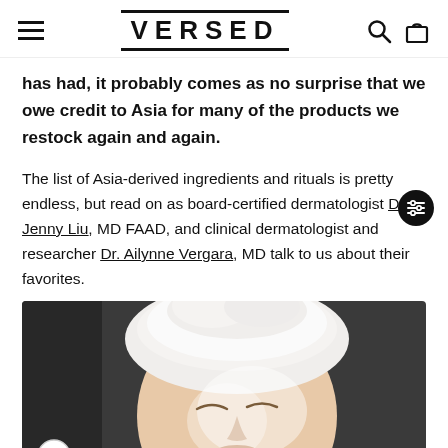VERSED
has had, it probably comes as no surprise that we owe credit to Asia for many of the products we restock again and again.
The list of Asia-derived ingredients and rituals is pretty endless, but read on as board-certified dermatologist Dr. Jenny Liu, MD FAAD, and clinical dermatologist and researcher Dr. Ailynne Vergara, MD talk to us about their favorites.
[Figure (photo): Person with white towel wrapped around head, eyes closed, with what appears to be a face mask or cream applied to their face. Dark background.]